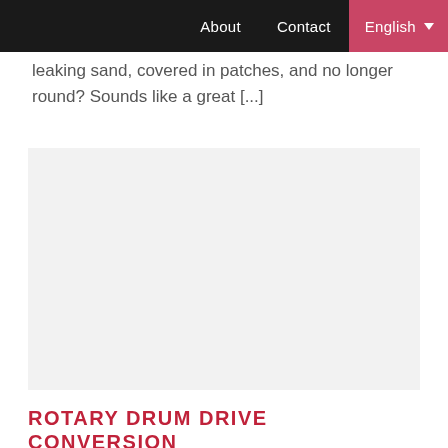About   Contact   English ▼
leaking sand, covered in patches, and no longer round? Sounds like a great [...]
[Figure (photo): Large light gray placeholder image area]
ROTARY DRUM DRIVE CONVERSION